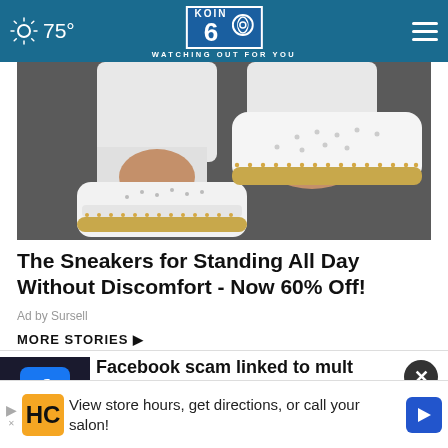75° KOIN 6 CBS WATCHING OUT FOR YOU
[Figure (photo): Close-up photo of white sneakers/espadrilles with perforated design and tan/gold trim sole, worn with white pants, on a dark background]
The Sneakers for Standing All Day Without Discomfort - Now 60% Off!
Ad by Sursell
MORE STORIES ▶
[Figure (photo): Thumbnail of Facebook logo on a phone screen (blue background with white 'f' letter)]
Facebook scam linked to multiple
[Figure (photo): Small video thumbnail with play button overlay]
Portland substitutes will soon get
View store hours, get directions, or call your salon!